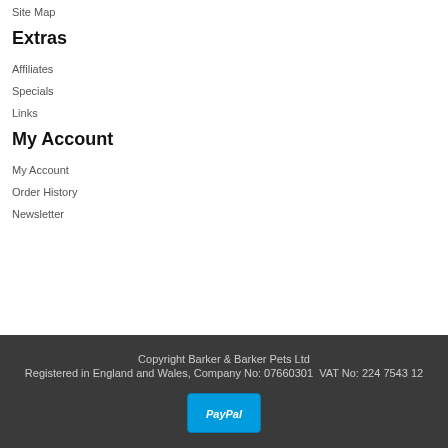Site Map
Extras
Affiliates
Specials
Links
My Account
My Account
Order History
Newsletter
Copyright Barker & Barker Pets Ltd
Registered in England and Wales, Company No: 07660301  VAT No: 224 7543 12